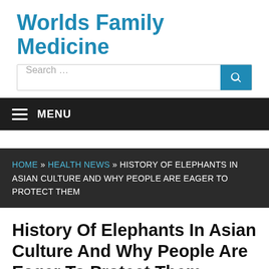Worlds Family Medicine
[Figure (screenshot): Search bar with text 'Search ...' and a blue search button with magnifying glass icon]
MENU
HOME » HEALTH NEWS » HISTORY OF ELEPHANTS IN ASIAN CULTURE AND WHY PEOPLE ARE EAGER TO PROTECT THEM
History Of Elephants In Asian Culture And Why People Are Eager To Protect Them